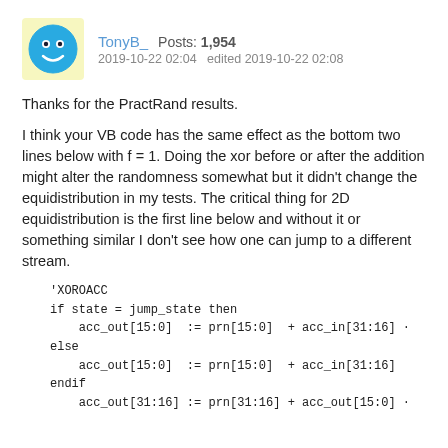TonyB_  Posts: 1,954  2019-10-22 02:04  edited 2019-10-22 02:08
Thanks for the PractRand results.
I think your VB code has the same effect as the bottom two lines below with f = 1. Doing the xor before or after the addition might alter the randomness somewhat but it didn't change the equidistribution in my tests. The critical thing for 2D equidistribution is the first line below and without it or something similar I don't see how one can jump to a different stream.
'XOROACC
if state = jump_state then
    acc_out[15:0]  := prn[15:0]  + acc_in[31:16] -
else
    acc_out[15:0]  := prn[15:0]  + acc_in[31:16]
endif
    acc_out[31:16] := prn[31:16] + acc_out[15:0] -